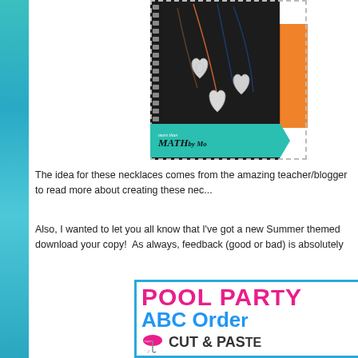[Figure (photo): Photo of clay heart-shaped necklaces on dark background with film strip border and 'More than Math by Mo' teal banner]
[Figure (photo): Orange envelope/card partially visible on right side]
The idea for these necklaces comes from the amazing teacher/blogger to read more about creating these ne...
Also, I wanted to let you all know that I've got a new Summer themed download your copy!  As always, feedback (good or bad) is absolutely
[Figure (photo): Pool Party ABC Order Cut & Paste educational product cover with pink, blue and black text on white background with blue border]